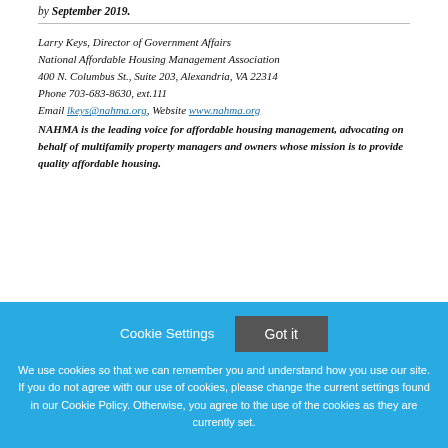by September 2019.
Larry Keys, Director of Government Affairs
National Affordable Housing Management Association
400 N. Columbus St., Suite 203, Alexandria, VA 22314
Phone 703-683-8630, ext.111
Email lkeys@nahma.org, Website www.nahma.org
NAHMA is the leading voice for affordable housing management, advocating on behalf of multifamily property managers and owners whose mission is to provide quality affordable housing.
Cookie Settings   Got it
We use cookies so that we can remember you and understand how you use our site. If you do not agree with our use of cookies, please change the current settings found in our Cookie Policy. Otherwise, you agree to the use of the cookies as they are currently set.